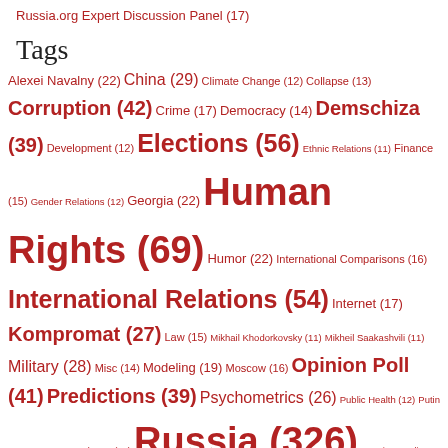Russia.org Expert Discussion Panel (17)
Tags
Alexei Navalny (22) China (29) Climate Change (12) Collapse (13) Corruption (42) Crime (17) Democracy (14) Demschiza (39) Development (12) Elections (56) Ethnic Relations (11) Finance (15) Gender Relations (12) Georgia (22) Human Rights (69) Humor (22) International Comparisons (16) International Relations (54) Internet (17) Kompromat (27) Law (15) Mikhail Khodorkovsky (11) Mikheil Saakashvili (11) Military (28) Misc (14) Modeling (19) Moscow (16) Opinion Poll (41) Predictions (39) Psychometrics (26) Public Health (12) Putin Derangement Syndrome (16) Russia (326) Russian Media (12) Russophobes (30) Sociology (22) South Ossetian War of 2008 (11) Soviet Union (21) The AK (34) Ukraine (50) United States (67)